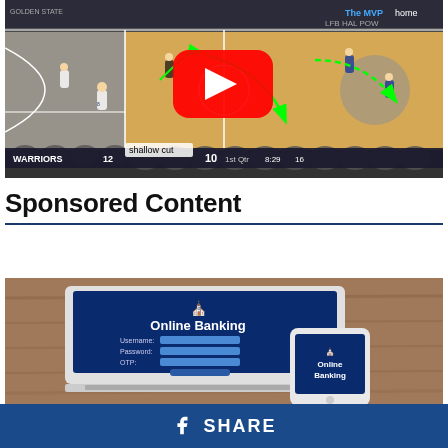[Figure (screenshot): YouTube video screenshot of an NBA basketball game (Warriors vs opponent, score 12-10, 1st Qtr 8:29, 16) with green arrows showing a 'shallow cut' play diagram overlaid on the court. A YouTube play button is visible in the center.]
Sponsored Content
[Figure (photo): Image of a laptop and smartphone showing an Online Banking login screen with Username, Password, and OTP fields, placed on a wooden table surface.]
SHARE